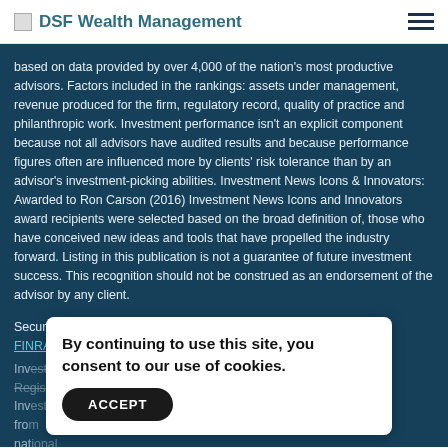DSF Wealth Management
based on data provided by over 4,000 of the nation's most productive advisors. Factors included in the rankings: assets under management, revenue produced for the firm, regulatory record, quality of practice and philanthropic work. Investment performance isn't an explicit component because not all advisors have audited results and because performance figures often are influenced more by clients' risk tolerance than by an advisor's investment-picking abilities. Investment News Icons & Innovators: Awarded to Ron Carson (2016) Investment News Icons and Innovators award recipients were selected based on the broad definition of, those who have conceived new ideas and tools that have propelled the industry forward. Listing in this publication is not a guarantee of future investment success. This recognition should not be construed as an endorsement of the advisor by any client.
Securities offered through Cetera Advisor Networks LLC, Member FINRA/SIPC.
Investment advisory services offered through CWM, LLC, an SEC Registered Investment Advisory...
By continuing to use this site, you consent to our use of cookies.